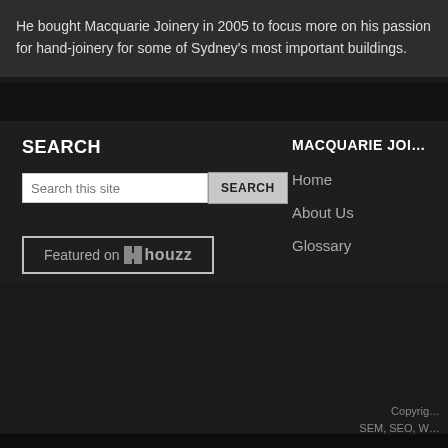He bought Macquarie Joinery in 2005 to focus more on his passion for hand-joinery for some of Sydney's most important buildings.
SEARCH
MACQUARIE JOIN…
Home
About Us
Glossary
Copyright … SEM, SEO, W…